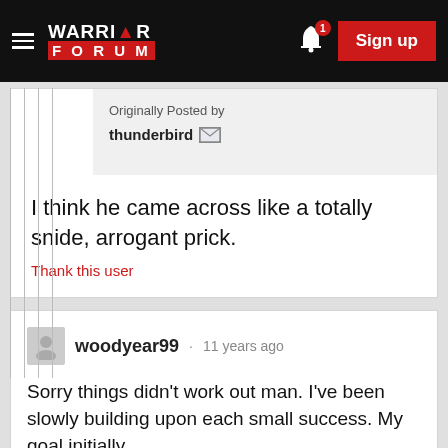WARRIOR FORUM
Originally Posted by thunderbird
I think he came across like a totally snide, arrogant prick.
Thank this user
woodyear99 · 11 years ago
Sorry things didn't work out man. I've been slowly building upon each small success. My goal initially